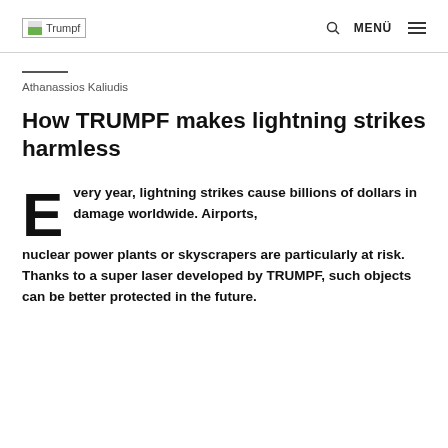Trumpf | MENÜ
Athanassios Kaliudis
How TRUMPF makes lightning strikes harmless
Every year, lightning strikes cause billions of dollars in damage worldwide. Airports, nuclear power plants or skyscrapers are particularly at risk. Thanks to a super laser developed by TRUMPF, such objects can be better protected in the future.